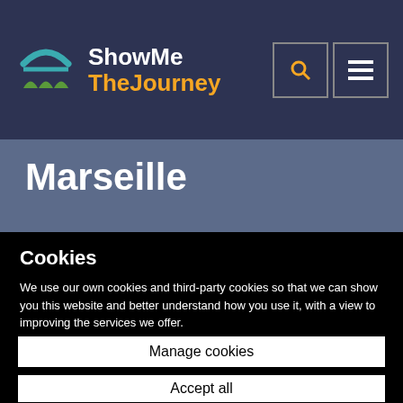ShowMe TheJourney
Marseille
Rail St...
Cookies
We use our own cookies and third-party cookies so that we can show you this website and better understand how you use it, with a view to improving the services we offer.
Manage cookies
Accept all